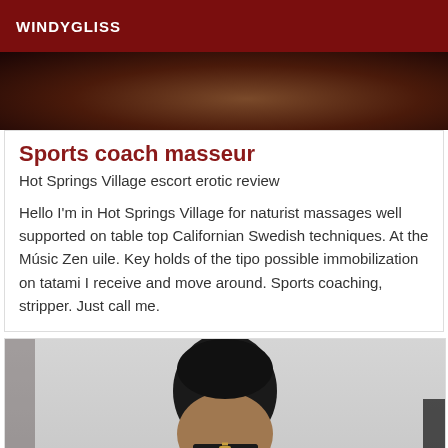WINDYGLISS
[Figure (photo): Partial photo of a person, dark tones, cropped at top]
Sports coach masseur
Hot Springs Village escort erotic review
Hello I'm in Hot Springs Village for naturist massages well supported on table top Californian Swedish techniques. At the Músic Zen uile. Key holds of the tipo possible immobilization on tatami I receive and move around. Sports coaching, stripper. Just call me.
[Figure (photo): Photo of a man with dark hair wearing sunglasses]